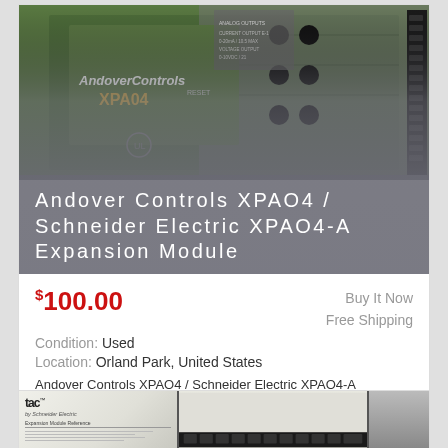[Figure (photo): Andover Controls XPAO4 / Schneider Electric XPAO4-A expansion module circuit board, green PCB with black connectors and components, shown against a gray gradient background overlay]
Andover Controls XPAO4 / Schneider Electric XPAO4-A Expansion Module
$100.00
Buy It Now
Free Shipping
Condition: Used
Location: Orland Park, United States
Andover Controls XPAO4 / Schneider Electric XPAO4-A Expansion Module. Good working condition. Free shipping.
[Figure (photo): TAC Expansion Module Reference manual document alongside a black hardware component, partially visible at bottom of page]